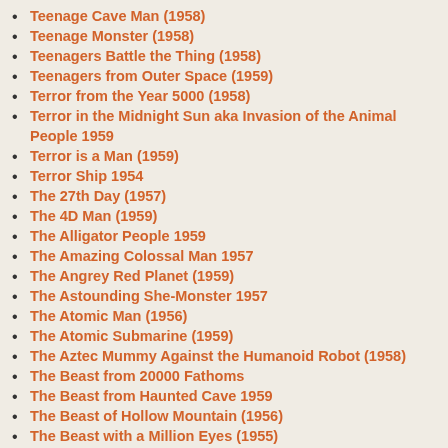Teenage Cave Man (1958)
Teenage Monster (1958)
Teenagers Battle the Thing (1958)
Teenagers from Outer Space (1959)
Terror from the Year 5000 (1958)
Terror in the Midnight Sun aka Invasion of the Animal People 1959
Terror is a Man (1959)
Terror Ship 1954
The 27th Day (1957)
The 4D Man (1959)
The Alligator People 1959
The Amazing Colossal Man 1957
The Angrey Red Planet (1959)
The Astounding She-Monster 1957
The Atomic Man (1956)
The Atomic Submarine (1959)
The Aztec Mummy Against the Humanoid Robot (1958)
The Beast from 20000 Fathoms
The Beast from Haunted Cave 1959
The Beast of Hollow Mountain (1956)
The Beast with a Million Eyes (1955)
The Black Scorpion (1957)
The Black Sleep (1956)
The Blob 1958